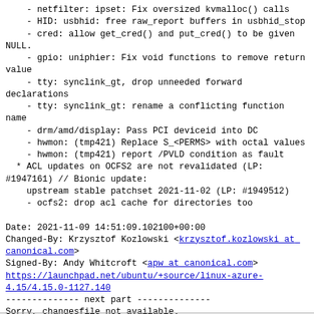- netfilter: ipset: Fix oversized kvmalloc() calls
- HID: usbhid: free raw_report buffers in usbhid_stop
- cred: allow get_cred() and put_cred() to be given NULL.
- gpio: uniphier: Fix void functions to remove return value
- tty: synclink_gt, drop unneeded forward declarations
- tty: synclink_gt: rename a conflicting function name
- drm/amd/display: Pass PCI deviceid into DC
- hwmon: (tmp421) Replace S_<PERMS> with octal values
- hwmon: (tmp421) report /PVLD condition as fault
* ACL updates on OCFS2 are not revalidated (LP: #1947161) // Bionic update:
    upstream stable patchset 2021-11-02 (LP: #1949512)
    - ocfs2: drop acl cache for directories too
Date: 2021-11-09 14:51:09.102100+00:00
Changed-By: Krzysztof Kozlowski <krzysztof.kozlowski at canonical.com>
Signed-By: Andy Whitcroft <apw at canonical.com>
https://launchpad.net/ubuntu/+source/linux-azure-4.15/4.15.0-1127.140
-------------- next part --------------
Sorry, changesfile not available.